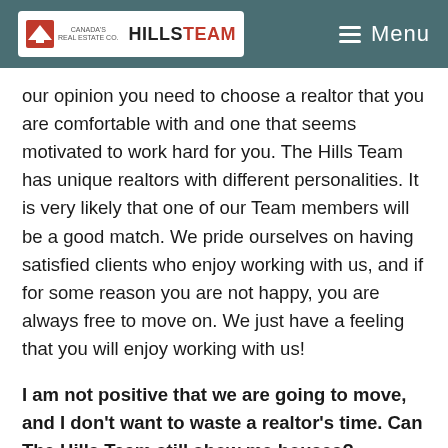HILLS TEAM — Menu
our opinion you need to choose a realtor that you are comfortable with and one that seems motivated to work hard for you. The Hills Team has unique realtors with different personalities. It is very likely that one of our Team members will be a good match. We pride ourselves on having satisfied clients who enjoy working with us, and if for some reason you are not happy, you are always free to move on. We just have a feeling that you will enjoy working with us!
I am not positive that we are going to move, and I don't want to waste a realtor's time. Can The Hills Team still show me houses?